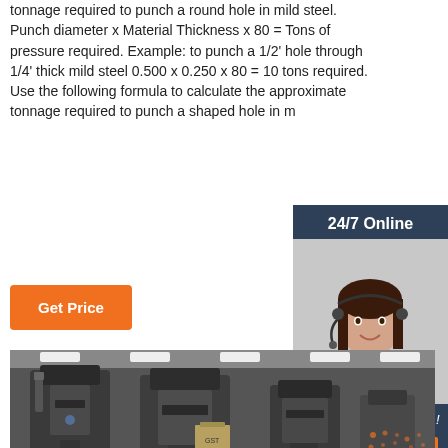tonnage required to punch a round hole in mild steel. Punch diameter x Material Thickness x 80 = Tons of pressure required. Example: to punch a 1/2' hole through 1/4' thick mild steel 0.500 x 0.250 x 80 = 10 tons required. Use the following formula to calculate the approximate tonnage required to punch a shaped hole in m
Get Price
24/7 Online
[Figure (photo): Woman with headset smiling, customer service representative]
Click here for free chat !
QUOTATION
[Figure (photo): Industrial machinery (punch press / ironworker machines) in a factory setting]